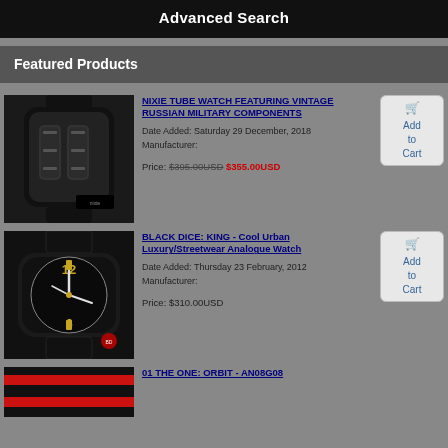Advanced Search
Featured Products
[Figure (photo): Black smartwatch-style Nixie tube watch with vintage Russian military components, black case and band]
NIXIE TUBE WATCH FEATURING VINTAGE RUSSIAN MILITARY COMPONENTS
Date Added: Saturday 29 December, 2018
Manufacturer:
Price: $395.00USD $355.00USD
[Figure (photo): Black analogue wristwatch with gold accents, Black Dice King model, with black leather strap]
BLACK DICE: KING - Cool Urban Luxury/Streetwear Analogue Watch
Date Added: Thursday 23 February, 2012
Manufacturer:
Price: $310.00USD
[Figure (photo): Watch with red and black striped band, partial view - 01 THE ONE: ORBIT - AN08G08]
01 THE ONE: ORBIT - AN08G08